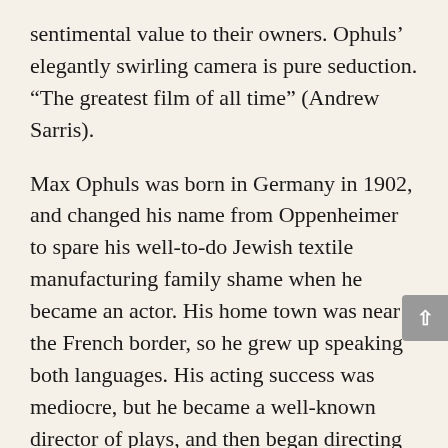sentimental value to their owners. Ophuls' elegantly swirling camera is pure seduction. “The greatest film of all time” (Andrew Sarris).
Max Ophuls was born in Germany in 1902, and changed his name from Oppenheimer to spare his well-to-do Jewish textile manufacturing family shame when he became an actor. His home town was near the French border, so he grew up speaking both languages. His acting success was mediocre, but he became a well-known director of plays, and then began directing films at the studios of U.F.A. in 1930. Soon after a film version of Arthur Schnitzler’s Liebelei became a success in Germany, the